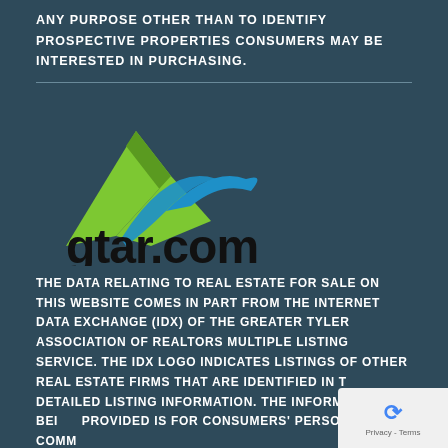ANY PURPOSE OTHER THAN TO IDENTIFY PROSPECTIVE PROPERTIES CONSUMERS MAY BE INTERESTED IN PURCHASING.
[Figure (logo): gtar.com logo with green and blue chevron/roof shape above the text 'gtar.com' in dark bold font]
THE DATA RELATING TO REAL ESTATE FOR SALE ON THIS WEBSITE COMES IN PART FROM THE INTERNET DATA EXCHANGE (IDX) OF THE GREATER TYLER ASSOCIATION OF REALTORS MULTIPLE LISTING SERVICE. THE IDX LOGO INDICATES LISTINGS OF OTHER REAL ESTATE FIRMS THAT ARE IDENTIFIED IN THE DETAILED LISTING INFORMATION. THE INFORMATION BEING PROVIDED IS FOR CONSUMERS' PERSONAL, NON-COMMERCIAL